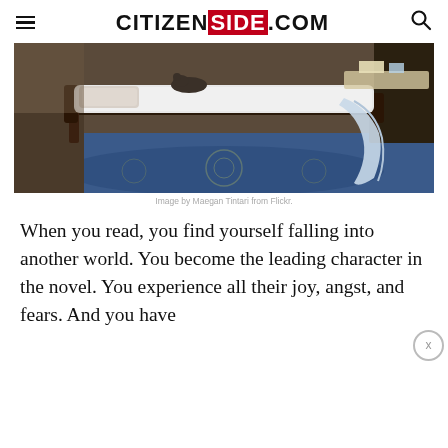CITIZENSIDE.COM
[Figure (photo): A daybed or bench with a white mattress/cushion and a light blue/grey blanket draped over the side, sitting on a blue ornate rug in a room interior. A cat is visible on top near the headboard.]
Image by Maegan Tintari from Flickr.
When you read, you find yourself falling into another world. You become the leading character in the novel. You experience all their joy, angst, and fears. And you have